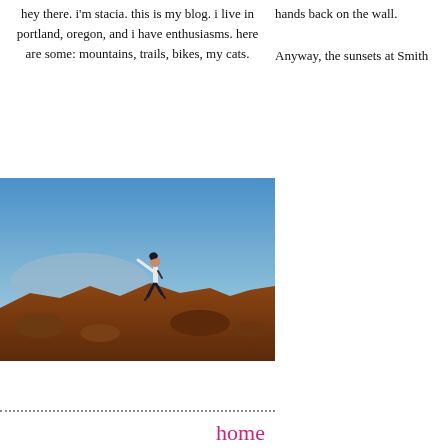hey there. i'm stacia. this is my blog. i live in portland, oregon, and i have enthusiasms. here are some: mountains, trails, bikes, my cats.
hands back on the wall.
Anyway, the sunsets at Smith
[Figure (photo): Person jumping on a rocky mountain summit with blue sky and volcanic landscape in the background]
[Figure (photo): Rocky mountain cliffs with pine trees under a blue sky with clouds]
home
contact